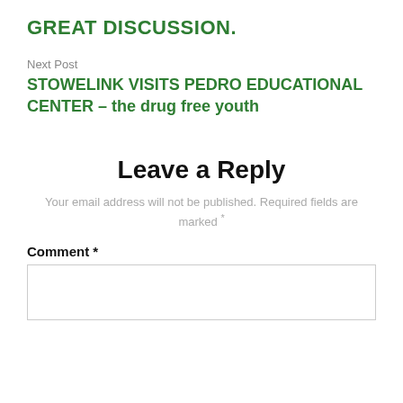GREAT DISCUSSION.
Next Post
STOWELINK VISITS PEDRO EDUCATIONAL CENTER – the drug free youth
Leave a Reply
Your email address will not be published. Required fields are marked *
Comment *